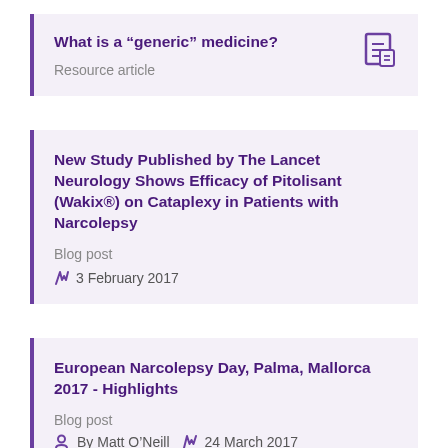What is a “generic” medicine?
Resource article
New Study Published by The Lancet Neurology Shows Efficacy of Pitolisant (Wakix®) on Cataplexy in Patients with Narcolepsy
Blog post
3 February 2017
European Narcolepsy Day, Palma, Mallorca 2017 - Highlights
Blog post
By Matt O’Neill  24 March 2017